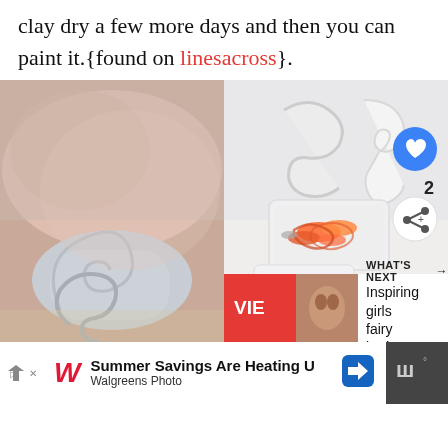clay dry a few more days and then you can paint it.{found on linesacross}.
[Figure (photo): Left: Close-up of hands shaping white clay into a letter/shape form. Right: Finished white clay letter/shape organizers containing paper clips and jewelry, with social media overlay buttons (heart, share, count 2) and a 'What's Next' preview bar showing 'Inspiring girls fairy bedroo...']
[Figure (screenshot): Advertisement bar at bottom: Walgreens Photo ad reading 'Summer Savings Are Heating U' with Walgreens logo, blue diamond icon, and gray weather widget on right]